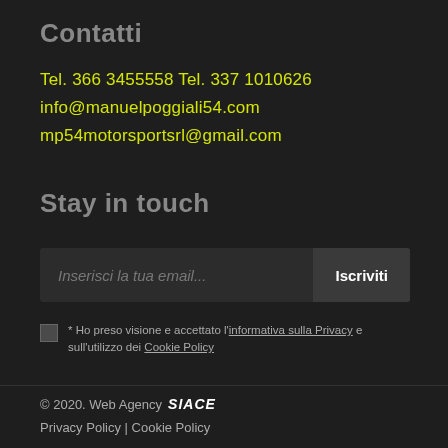Contatti
Tel. 366 3455558 Tel. 337 1010626
info@manuelpoggiali54.com
mp54motorsportsrl@gmail.com
Stay in touch
Inserisci la tua email...
Iscriviti
* Ho preso visione e accettato l'informativa sulla Privacy e sull'utilizzo dei Cookie Policy
© 2020. Web Agency SIACE
Privacy Policy | Cookie Policy